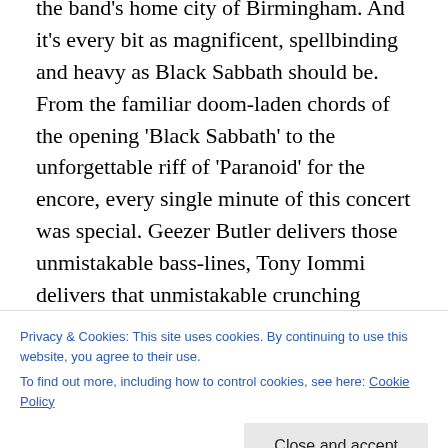the band's home city of Birmingham. And it's every bit as magnificent, spellbinding and heavy as Black Sabbath should be. From the familiar doom-laden chords of the opening 'Black Sabbath' to the unforgettable riff of 'Paranoid' for the encore, every single minute of this concert was special. Geezer Butler delivers those unmistakable bass-lines, Tony Iommi delivers that unmistakable crunching guitar and Ozzy Osbourne delivers those unmistakable wailing vocals – the essential and unchangeable ingredients that make Black Sabbath
Privacy & Cookies: This site uses cookies. By continuing to use this website, you agree to their use. To find out more, including how to control cookies, see here: Cookie Policy
Close and accept
Ozzy, as always, is a fascinating character. Between